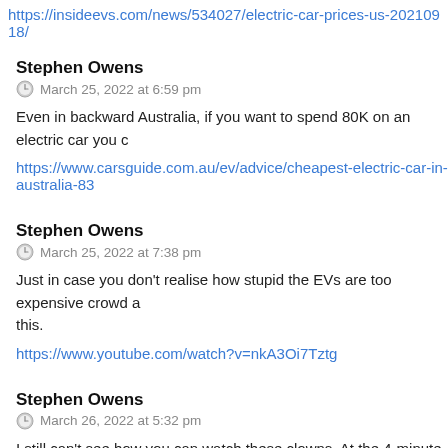https://insideevs.com/news/534027/electric-car-prices-us-20210918/
Stephen Owens
March 25, 2022 at 6:59 pm
Even in backward Australia, if you want to spend 80K on an electric car you c
https://www.carsguide.com.au/ev/advice/cheapest-electric-car-in-australia-83
Stephen Owens
March 25, 2022 at 7:38 pm
Just in case you don't realise how stupid the EVs are too expensive crowd a this.
https://www.youtube.com/watch?v=nkA3Oi7Tztg
Stephen Owens
March 26, 2022 at 5:32 pm
I still can't see how you can watch these clowns. At the 4-minute mark, the cl interviewed states that Biden heads a movement that has been restricting oi the USA. Off the top of my head I know this is bull shit but don't take my wo